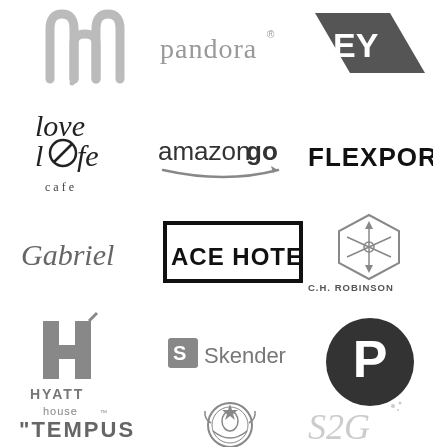[Figure (logo): McDonald's logo (golden arches, grayscale)]
[Figure (logo): Pandora logo (grayscale text)]
[Figure (logo): EY (Ernst & Young) logo (dark gray bold)]
[Figure (logo): Love Life Cafe logo (stylized text with circle-i, grayscale)]
[Figure (logo): Amazon Go logo (grayscale)]
[Figure (logo): Flexport logo (bold uppercase black text)]
[Figure (logo): Gabriel logo (gray serif text)]
[Figure (logo): Ace Hotel logo (bold uppercase in black border box)]
[Figure (logo): C.H. Robinson logo (hexagonal snowflake icon with text below)]
[Figure (logo): Hyatt House logo (H with tick mark, gray)]
[Figure (logo): Skender logo (S icon + text, gray)]
[Figure (logo): Pinterest logo (P in dark circle)]
[Figure (logo): Tempus logo (bold uppercase with quotation mark, gray)]
[Figure (logo): Starbucks logo (siren emblem, grayscale)]
[Figure (logo): S2G logo (stylized script, light gray)]